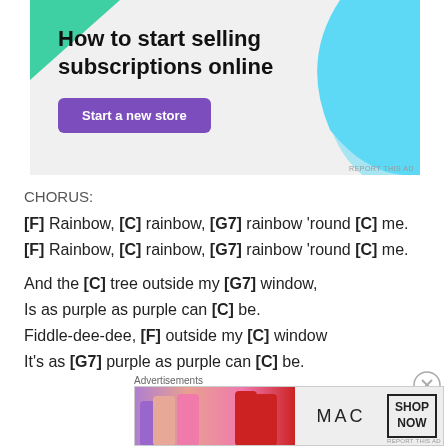[Figure (infographic): Advertisement banner: 'How to start selling subscriptions online' with a 'Start a new store' purple button, green triangle shape top-left, blue curved shape top-right, light gray background.]
CHORUS:
[F] Rainbow, [C] rainbow, [G7] rainbow 'round [C] me.
[F] Rainbow, [C] rainbow, [G7] rainbow 'round [C] me.
And the [C] tree outside my [G7] window,
Is as purple as purple can [C] be.
Fiddle-dee-dee, [F] outside my [C] window
It's as [G7] purple as purple can [C] be.
Advertisements
[Figure (photo): MAC cosmetics advertisement showing lipsticks in purple, peach, pink, and red colors, with MAC logo and 'SHOP NOW' box.]